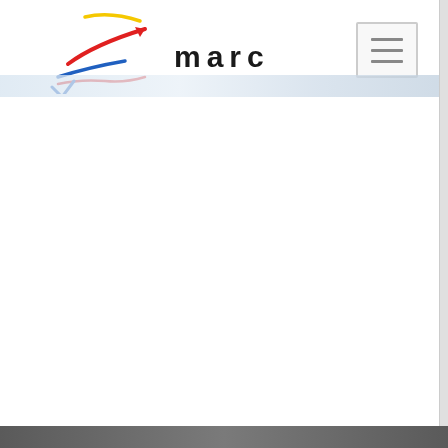[Figure (logo): MARC organization logo with colorful arrow/bird swoosh graphic and 'marc' text in bold dark letters]
[Figure (other): Hamburger menu button (three horizontal lines) in top right corner]